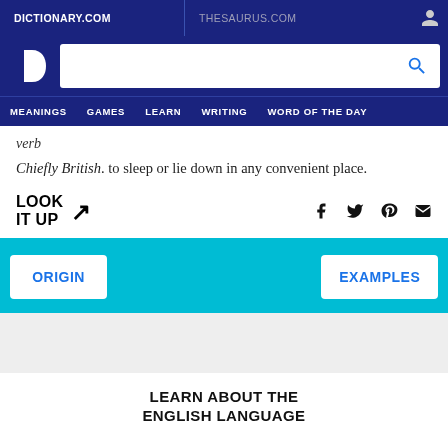DICTIONARY.COM | THESAURUS.COM
verb
Chiefly British. to sleep or lie down in any convenient place.
LOOK IT UP ↗
ORIGIN
EXAMPLES
LEARN ABOUT THE ENGLISH LANGUAGE